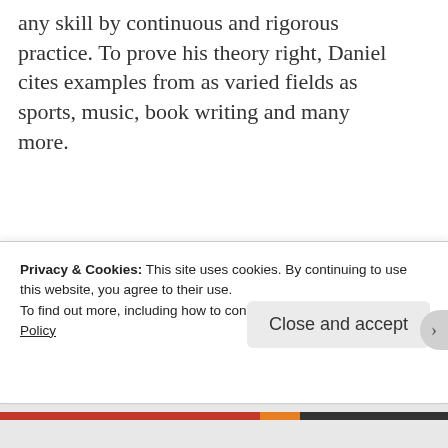any skill by continuous and rigorous practice. To prove his theory right, Daniel cites examples from as varied fields as sports, music, book writing and many more.
In the book, Daniel talks about the process of 'deep practice'. He gives the example of Brunio, an eleven years old kid, who is trying to master a soccer movement. Failing to do the movement right several times, Brunio slows down his speed and break the
Privacy & Cookies: This site uses cookies. By continuing to use this website, you agree to their use.
To find out more, including how to control cookies, see here: Cookie Policy